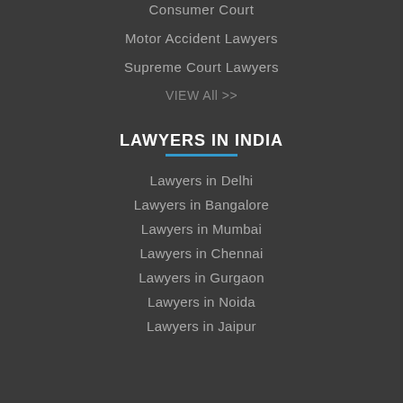Consumer Court
Motor Accident Lawyers
Supreme Court Lawyers
VIEW All >>
LAWYERS IN INDIA
Lawyers in Delhi
Lawyers in Bangalore
Lawyers in Mumbai
Lawyers in Chennai
Lawyers in Gurgaon
Lawyers in Noida
Lawyers in Jaipur